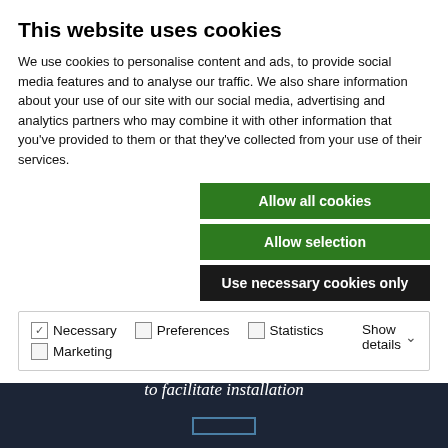This website uses cookies
We use cookies to personalise content and ads, to provide social media features and to analyse our traffic. We also share information about your use of our site with our social media, advertising and analytics partners who may combine it with other information that you've provided to them or that they've collected from your use of their services.
Allow all cookies
Allow selection
Use necessary cookies only
Necessary  Preferences  Statistics  Marketing  Show details
profiles that form the framework of the wall system. Then the boards are mounted, all joints are sealed with Fibo’s sealant, Fibo Seal. Accessories are also available to facilitate installation